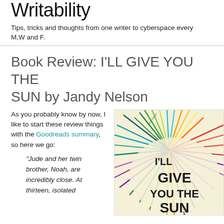Writability
Tips, tricks and thoughts from one writer to cyberspace every M,W and F.
Book Review: I'LL GIVE YOU THE SUN by Jandy Nelson
As you probably know by now, I like to start these review things with the Goodreads summary, so here we go:
“Jude and her twin brother, Noah, are incredibly close. At thirteen, isolated
[Figure (illustration): Book cover of 'I'll Give You the Sun' by Jandy Nelson featuring colorful radiating lines on a cream background with bold black text reading I'LL GIVE YOU THE SUN]